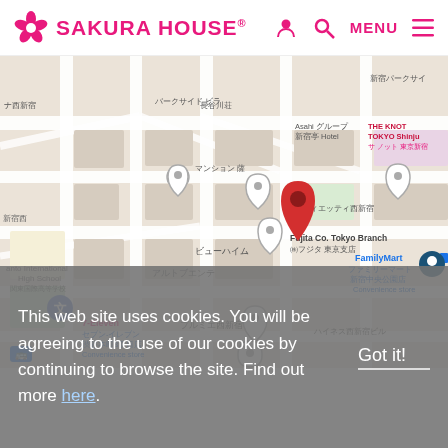SAKURA HOUSE®  MENU
[Figure (map): Google Maps screenshot showing streets around Nishi-Shinjuku area in Tokyo, Japan. A red map pin marks a location near ビューハイム (View Heim). Nearby labels include: ナ西新宿, バークサイド ビラ, 新宿パークサイ, フラッツ西新宿, 長谷川荘, Asahi グループ 新宿亭 Hotel, THE KNOT TOKYO Shinju サ ノット 東京新宿, マンション 薩, ヴィエッティ西新宿, ビューハイム, 新宿西, Fujita Co. Tokyo Branch ㈱フジタ 東京支店, anto International High School 関東国際高等学校, アルトブエンテ, FamilyMart ファミリーマート 新宿中央公園店 Convenience store, ブルミエ西新宿, 7-Eleven セブン-イレブン 渋谷本町3丁目店 Convenience store, ハイネス西新宿ビル]
This web site uses cookies. You will be agreeing to the use of our cookies by continuing to browse the site. Find out more here.
Got it!